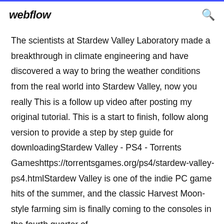webflow
The scientists at Stardew Valley Laboratory made a breakthrough in climate engineering and have discovered a way to bring the weather conditions from the real world into Stardew Valley, now you really This is a follow up video after posting my original tutorial. This is a start to finish, follow along version to provide a step by step guide for downloadingStardew Valley - PS4 - Torrents Gameshttps://torrentsgames.org/ps4/stardew-valley-ps4.htmlStardew Valley is one of the indie PC game hits of the summer, and the classic Harvest Moon-style farming sim is finally coming to the consoles in the fourth quarter of